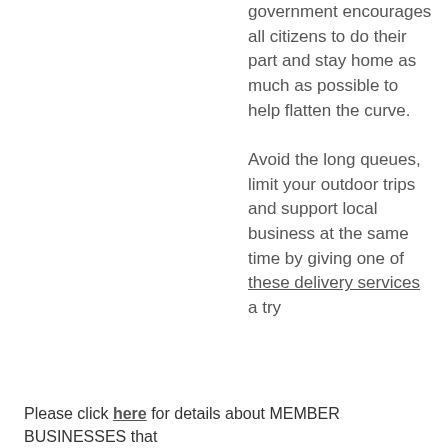government encourages all citizens to do their part and stay home as much as possible to help flatten the curve.
Avoid the long queues, limit your outdoor trips and support local business at the same time by giving one of these delivery services a try
Please click here for details about MEMBER BUSINESSES that